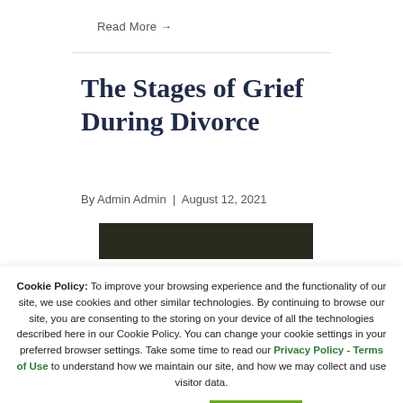Read More →
The Stages of Grief During Divorce
By Admin Admin | August 12, 2021
[Figure (photo): Dark image strip, partially visible photograph]
Cookie Policy: To improve your browsing experience and the functionality of our site, we use cookies and other similar technologies. By continuing to browse our site, you are consenting to the storing on your device of all the technologies described here in our Cookie Policy. You can change your cookie settings in your preferred browser settings. Take some time to read our Privacy Policy - Terms of Use to understand how we maintain our site, and how we may collect and use visitor data.
Cookie settings
ACCEPT